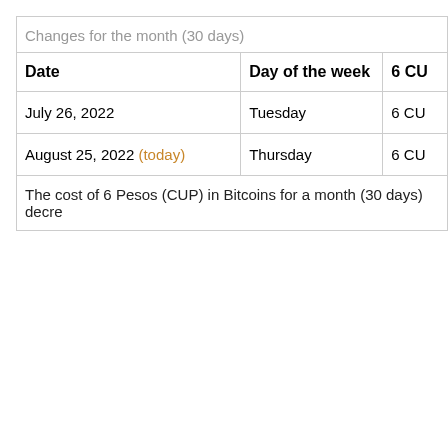| Date | Day of the week | 6 CU |
| --- | --- | --- |
| July 26, 2022 | Tuesday | 6 CU |
| August 25, 2022 (today) | Thursday | 6 CU |